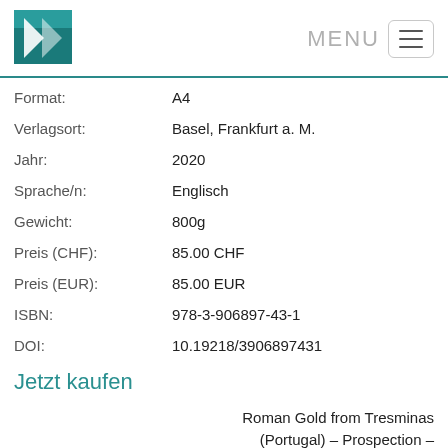[Figure (logo): Publisher logo: teal/dark teal square with white angular book/arrow shape]
| Format: | A4 |
| Verlagsort: | Basel, Frankfurt a. M. |
| Jahr: | 2020 |
| Sprache/n: | Englisch |
| Gewicht: | 800g |
| Preis (CHF): | 85.00 CHF |
| Preis (EUR): | 85.00 EUR |
| ISBN: | 978-3-906897-43-1 |
| DOI: | 10.19218/3906897431 |
Jetzt kaufen
Roman Gold from Tresminas (Portugal) – Prospection –